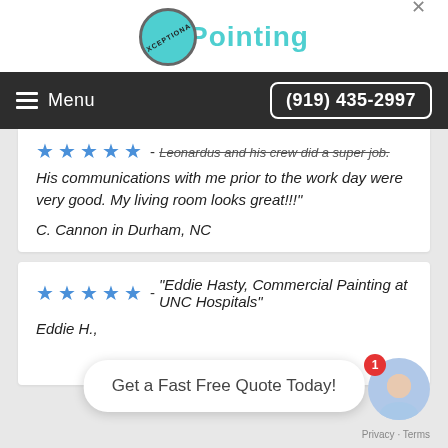[Figure (logo): Exceptional Painting logo with teal circle stamp and teal text reading 'Painting']
Menu | (919) 435-2997
Leonardus and his crew did a super job. His communications with me prior to the work day were very good. My living room looks great!!!
C. Cannon in Durham, NC
Eddie Hasty, Commercial Painting at UNC Hospitals
Eddie H., NC
Get a Fast Free Quote Today!